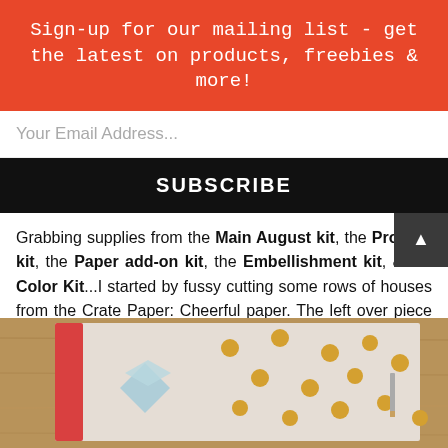Sign-up for our mailing list - get the latest on products, freebies & more!
Your Email Address...
SUBSCRIBE
Grabbing supplies from the Main August kit, the Pro Life kit, the Paper add-on kit, the Embellishment kit, & the Color Kit...I started by fussy cutting some rows of houses from the Crate Paper: Cheerful paper. The left over piece of paper, I flipped over, cleaned up the cut edge into loose scallops & used the woodgrain as the next layer. Next came a strip of Botanical Sparkle from Pink Fresh Studio, I finished off with an aqua sparkly sky from Pink Fresh.
[Figure (photo): Photo of craft supplies and embellishments on a wooden surface, showing a light-colored card/paper with a butterfly or star shape and gold dot embellishments scattered around]